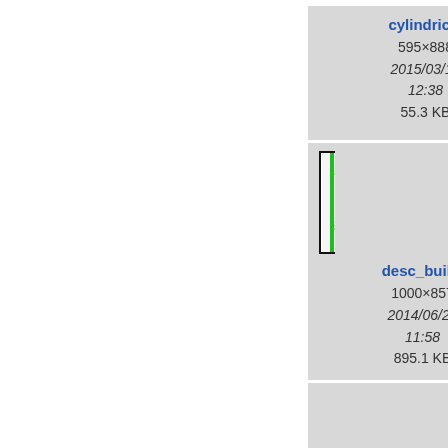[Figure (screenshot): File browser thumbnail grid showing engineering image files with metadata. Row 1: 'cylindric...' 595x888 2015/03/18 12:38 70.6 KB; 'cylindric...' 595x888 2015/03/18 12:38 55.3 KB; 'cy...' (partial). Row 2: 'desc_bc_...' with photo thumbnail of 3D printer/CNC machine 998x1168 2015/09/14 09:06 1.1 MB; 'desc_buil...' 1000x857 2014/06/27 11:58 895.1 KB; 'de...' (partial). Row 3: Two more partially visible tiles at bottom.]